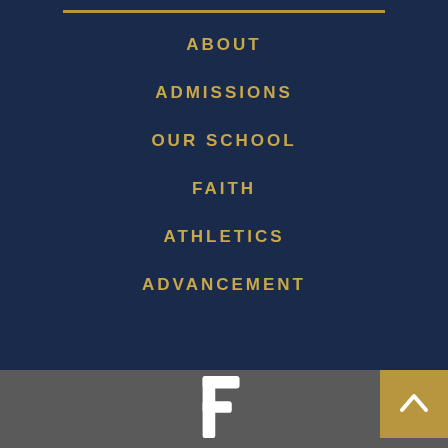ABOUT
ADMISSIONS
OUR SCHOOL
FAITH
ATHLETICS
ADVANCEMENT
[Figure (logo): Stylized F letter logo in white on gray footer background]
[Figure (other): Gold scroll-to-top button with upward chevron arrow in bottom right corner]